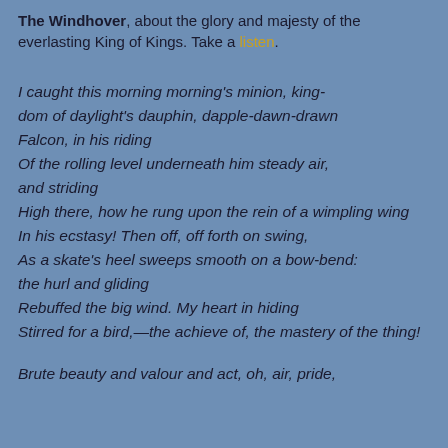The Windhover, about the glory and majesty of the everlasting King of Kings. Take a listen.
I caught this morning morning's minion, king-dom of daylight's dauphin, dapple-dawn-drawn Falcon, in his riding
Of the rolling level underneath him steady air, and striding
High there, how he rung upon the rein of a wimpling wing
In his ecstasy! Then off, off forth on swing,
As a skate's heel sweeps smooth on a bow-bend: the hurl and gliding
Rebuffed the big wind. My heart in hiding
Stirred for a bird,—the achieve of, the mastery of the thing!
Brute beauty and valour and act, oh, air, pride,